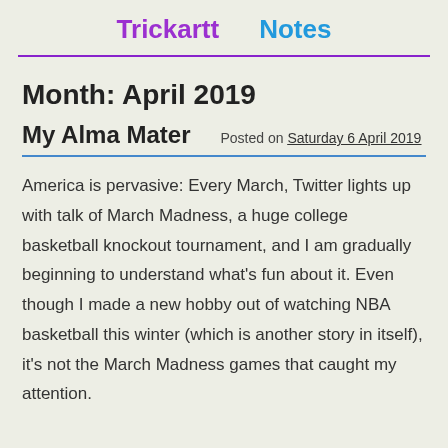Trickartt   Notes
Month: April 2019
My Alma Mater   Posted on Saturday 6 April 2019
America is pervasive: Every March, Twitter lights up with talk of March Madness, a huge college basketball knockout tournament, and I am gradually beginning to understand what’s fun about it. Even though I made a new hobby out of watching NBA basketball this winter (which is another story in itself), it’s not the March Madness games that caught my attention.